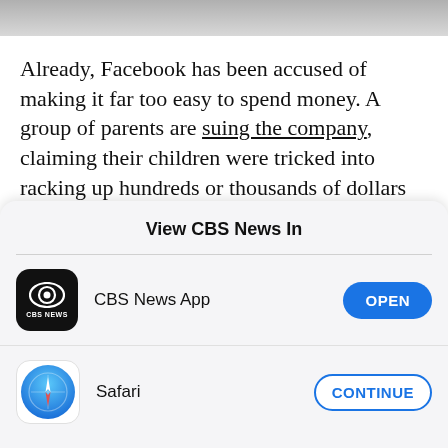[Figure (photo): Partial gray image at the top of the page]
Already, Facebook has been accused of making it far too easy to spend money. A group of parents are suing the company, claiming their children were tricked into racking up hundreds or thousands of dollars in charges on their parents' cards.
View CBS News In
CBS News App
OPEN
Safari
CONTINUE